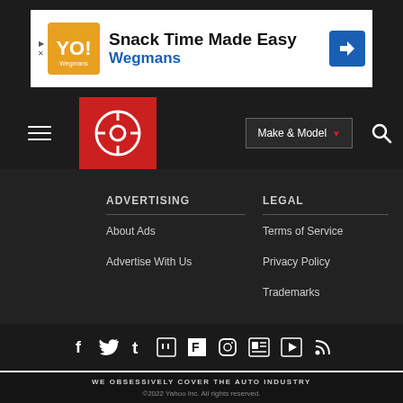[Figure (screenshot): Advertisement banner for Wegmans: 'Snack Time Made Easy' with Wegmans logo and navigation icon]
[Figure (screenshot): Navigation bar with hamburger menu, Carbuzz logo (red square with speedometer icon), Make & Model dropdown, and search icon]
ADVERTISING
About Ads
Advertise With Us
LEGAL
Terms of Service
Privacy Policy
Trademarks
[Figure (screenshot): Social media icons row: Facebook, Twitter, Tumblr, Twitch, Flipboard, Instagram, News, Play, RSS]
WE OBSESSIVELY COVER THE AUTO INDUSTRY
©2022 Yahoo Inc. All rights reserved.